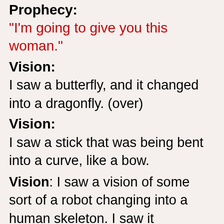Prophecy:
"I'm going to give you this woman."
Vision:
I saw a butterfly, and it changed into a dragonfly. (over)
Vision:
I saw a stick that was being bent into a curve, like a bow.
Vision: I saw a vision of some sort of a robot changing into a human skeleton. I saw it swimming under the water, and the water looked like an ocean.
Vision: